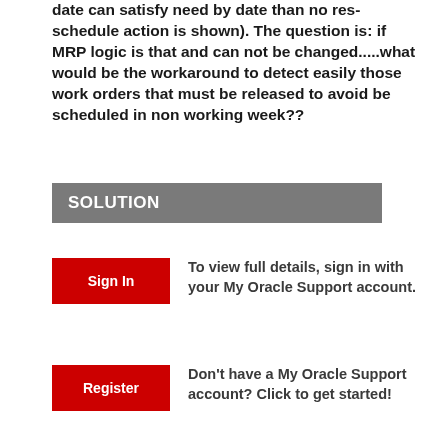date can satisfy need by date than no res-schedule action is shown). The question is: if MRP logic is that and can not be changed.....what would be the workaround to detect easily those work orders that must be released to avoid be scheduled in non working week??
SOLUTION
To view full details, sign in with your My Oracle Support account.
Don't have a My Oracle Support account? Click to get started!